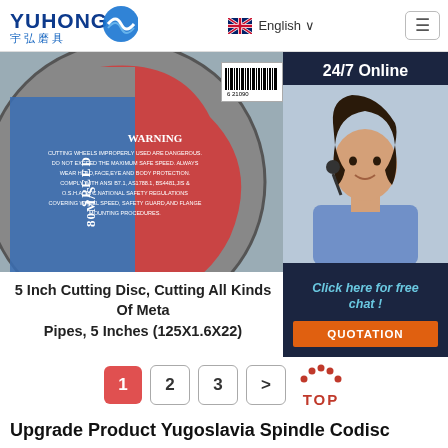YUHONG 宇弘磨具 — English navigation header
[Figure (photo): Close-up of a 5-inch cutting disc label showing WARNING text, SPEED 80M/S, barcode, and a customer service agent with headset on dark background with '24/7 Online' text and 'Click here for free chat! QUOTATION' button]
5 Inch Cutting Disc, Cutting All Kinds Of Metal Pipes, 5 Inches (125X1.6X22)
Pagination: 1 (active), 2, 3, > (next), TOP
Upgrade Product Yugoslavia Spindle Codisc